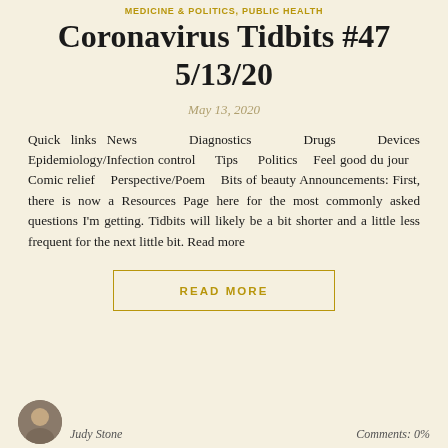MEDICINE & POLITICS, PUBLIC HEALTH
Coronavirus Tidbits #47
5/13/20
May 13, 2020
Quick links News   Diagnostics   Drugs   Devices Epidemiology/Infection control   Tips   Politics   Feel good du jour   Comic relief   Perspective/Poem   Bits of beauty Announcements: First, there is now a Resources Page here for the most commonly asked questions I'm getting. Tidbits will likely be a bit shorter and a little less frequent for the next little bit. Read more
READ MORE
Judy Stone